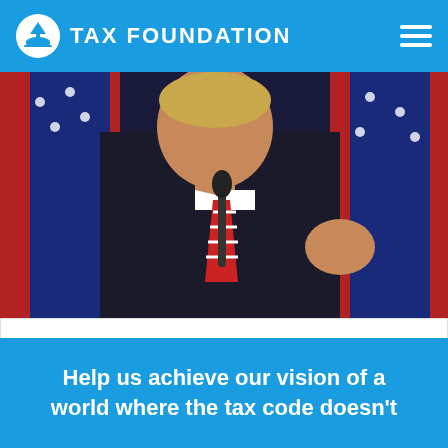TAX FOUNDATION
[Figure (photo): A man in a dark suit and red striped tie speaking at a microphone, with American flags in the background.]
Notes on Trump's Tax Policy Speech in Missouri
Help us achieve our vision of a world where the tax code doesn't